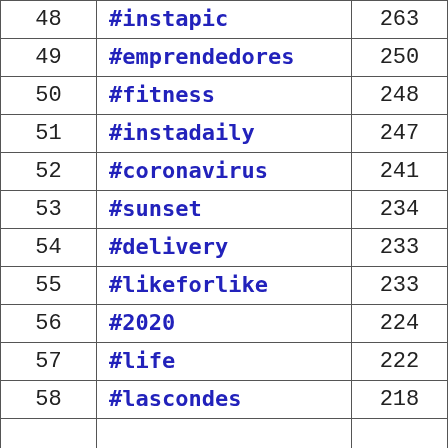| Rank | Hashtag | Count |
| --- | --- | --- |
| 48 | #instapic | 263 |
| 49 | #emprendedores | 250 |
| 50 | #fitness | 248 |
| 51 | #instadaily | 247 |
| 52 | #coronavirus | 241 |
| 53 | #sunset | 234 |
| 54 | #delivery | 233 |
| 55 | #likeforlike | 233 |
| 56 | #2020 | 224 |
| 57 | #life | 222 |
| 58 | #lascondes | 218 |
| 59 | ... | ... |